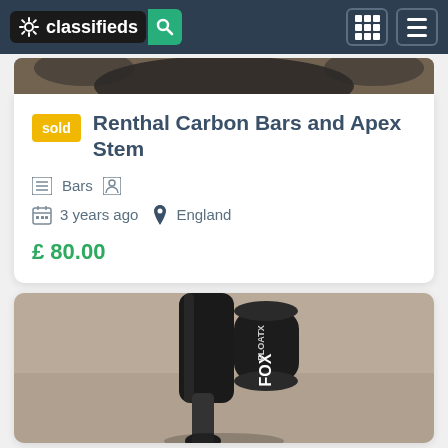classifieds
[Figure (photo): Partial photo of bicycle handlebars/wheel at top of page, dark colors on beige/tan background]
Renthal Carbon Bars and Apex Stem
sold
Bars
3 years ago  England
£ 80.00
[Figure (photo): Fox Float rear shock absorber in black, lying on beige carpet]